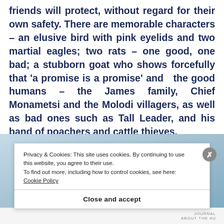friends will protect, without regard for their own safety. There are memorable characters – an elusive bird with pink eyelids and two martial eagles; two rats – one good, one bad; a stubborn goat who shows forcefully that 'a promise is a promise' and  the good humans – the James family, Chief Monametsi and the Molodi villagers, as well as bad ones such as Tall Leader, and his band of poachers and cattle thieves.
[Figure (photo): Partial view of an image with blue/sky tones, partially obscured by a cookie consent banner.]
Privacy & Cookies: This site uses cookies. By continuing to use this website, you agree to their use.
To find out more, including how to control cookies, see here: Cookie Policy
Close and accept
JOURNAL
ABOUT THE AU